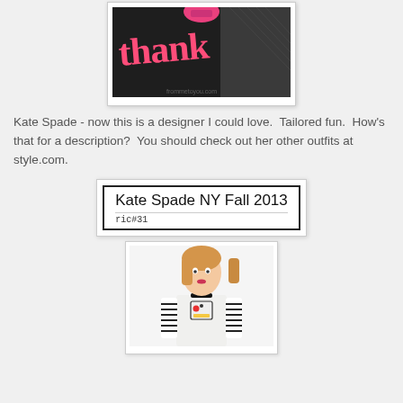[Figure (photo): Close-up photo of a dark/black surface with pink handwritten 'thank' text and a pink object at top, set in a white frame]
Kate Spade - now this is a designer I could love.  Tailored fun.  How's that for a description?  You should check out her other outfits at style.com.
[Figure (photo): A label/tag image reading 'Kate Spade NY Fall 2013' in handwritten style with 'ric#31' below in monospace, inside a bordered box]
[Figure (photo): Photo of a young blonde woman wearing a white top with graphic print and black-and-white striped sleeves]